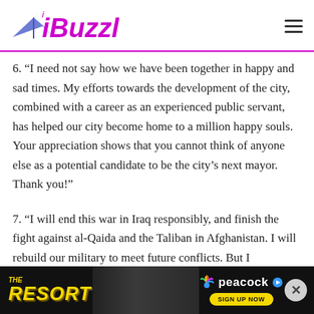iBuzzle
6. “I need not say how we have been together in happy and sad times. My efforts towards the development of the city, combined with a career as an experienced public servant, has helped our city become home to a million happy souls. Your appreciation shows that you cannot think of anyone else as a potential candidate to be the city’s next mayor. Thank you!”
7. “I will end this war in Iraq responsibly, and finish the fight against al-Qaida and the Taliban in Afghanistan. I will rebuild our military to meet future conflicts. But I will also renew the tough, direct diplomacy that can...
[Figure (illustration): Advertisement banner for 'The Resort' on Peacock with Sign Up Now button]